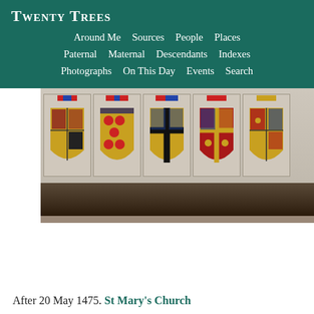TWENTY TREES
Around Me   Sources   People   Places   Paternal   Maternal   Descendants   Indexes   Photographs   On This Day   Events   Search
[Figure (photo): Photograph of a row of heraldic coat of arms shields carved and painted on stone panels, mounted on a dark stone ledge inside a church. The shields display various colorful heraldic designs including quartered fields with gold, red, blue, and black sections with various heraldic charges.]
After 20 May 1475. St Mary's Church